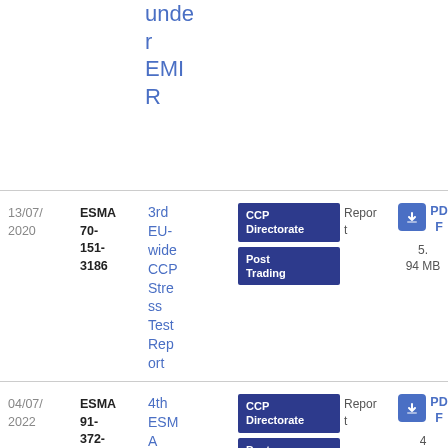under EMIR
| Date | Reference | Title | Tags | Type | Download |
| --- | --- | --- | --- | --- | --- |
| 13/07/2020 | ESMA 70-151-3186 | 3rd EU-wide CCP Stress Test Report | CCP Directorate | Post Trading | Report | PDF 5.94 MB |
| 04/07/2022 | ESMA 91-372-2060 | 4th ESMA CCP Stress Test Report | CCP Directorate | Post Trading | Report | PDF 4 MB |